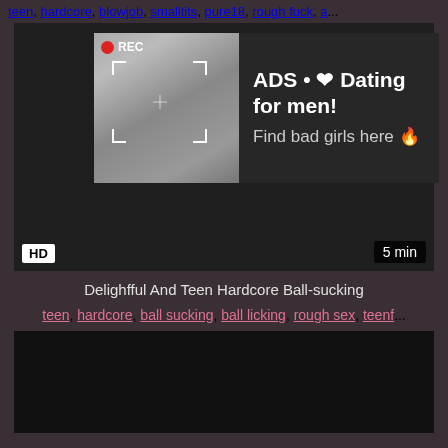teen, hardcore, blowjob, smalltits, pure18, rough fuck, a...
[Figure (screenshot): Video player with ad overlay showing a photo, REC indicator, viewfinder frame, ad text 'ADS • ❤ Dating for men! Find bad girls here 🔥', HD badge, 5 min duration badge]
Delighfful And Teen Hardcore Ball-sucking
teen, hardcore, ball sucking, ball licking, rough sex, teenf...
[Figure (screenshot): Second video thumbnail, dark/black frame]